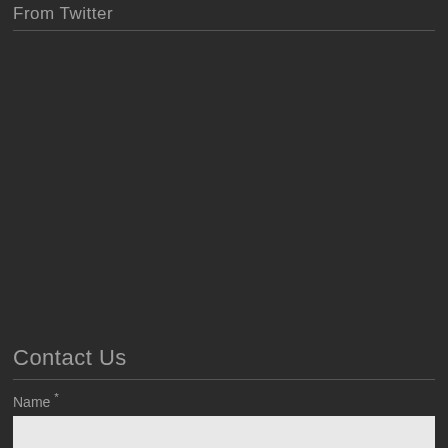From Twitter
Contact Us
Name *